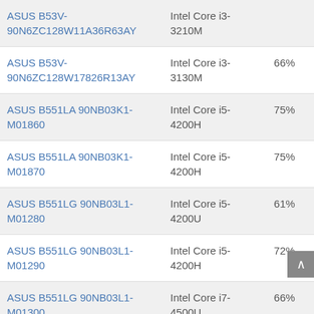| Product | Processor | Score |
| --- | --- | --- |
| ASUS B53V-90N6ZC128W11A36R63AY | Intel Core i3-3210M |  |
| ASUS B53V-90N6ZC128W17826R13AY | Intel Core i3-3130M | 66% |
| ASUS B551LA 90NB03K1-M01860 | Intel Core i5-4200H | 75% |
| ASUS B551LA 90NB03K1-M01870 | Intel Core i5-4200H | 75% |
| ASUS B551LG 90NB03L1-M01280 | Intel Core i5-4200U | 61% |
| ASUS B551LG 90NB03L1-M01290 | Intel Core i5-4200H | 72% |
| ASUS B551LG 90NB03L1-M01300 | Intel Core i7-4500U | 66% |
| ASUS B551LG 90NB03L1-M01310 | Intel Core i7-4500U | 66% |